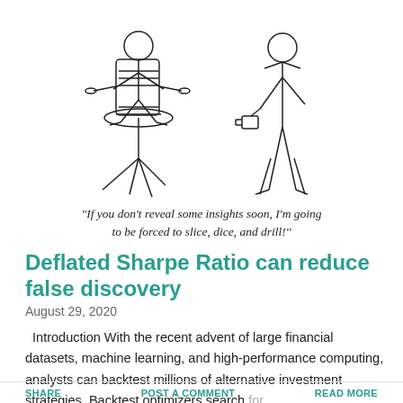[Figure (illustration): Cartoon illustration: a figure tied to an office chair on the left, and a standing figure holding a cup on the right.]
"If you don't reveal some insights soon, I'm going to be forced to slice, dice, and drill!"
Deflated Sharpe Ratio can reduce false discovery
August 29, 2020
Introduction With the recent advent of large financial datasets, machine learning, and high-performance computing, analysts can backtest millions of alternative investment strategies. Backtest optimizers search for ...
SHARE   POST A COMMENT   READ MORE